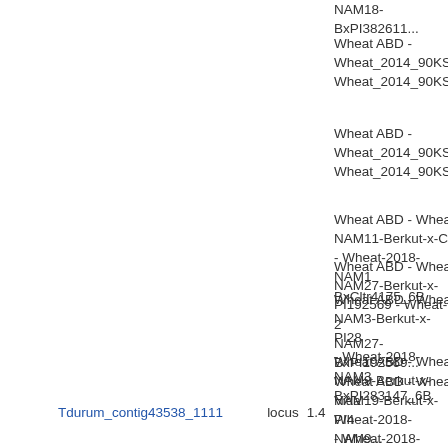NAM18-BxPI382611...
Wheat ABD - Wheat_2014_90KSl
Wheat_2014_90KSl
Wheat ABD - Wheat_2014_90KSl
Wheat_2014_90KSl
Wheat ABD - Wheat NAM11-Berkut-x-Cl - Wheat-2018-NAM1-BxCltr4175_6B
Wheat ABD - Wheat NAM3-Berkut-x-PI28 - Wheat-2018-NAM3-BxPI283147_6B
Wheat ABD - Wheat NAM19-Berkut-x-PI4 - Wheat-2018-NAM1-BxPI43355_6B
Wheat ABD - Wheat NAM27-Berkut-x-PI192569 - Wheat-2018-NAM27-BxPI192569...
Tdurum_contig43538_1111	locus	1.4
Wheat ABD - Wheat NAM9-Berkut-x-Vida - Wheat-2018-NAM9...